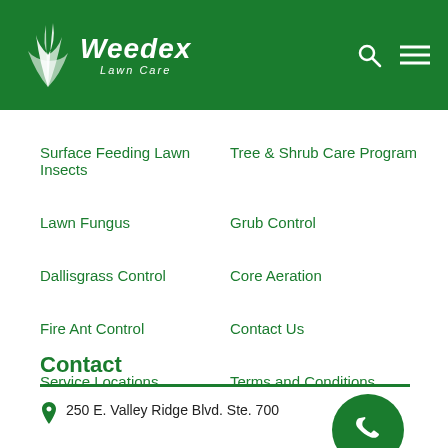[Figure (logo): Weedex Lawn Care logo with grass/plant graphic on dark green header background]
Surface Feeding Lawn Insects
Tree & Shrub Care Program
Lawn Fungus
Grub Control
Dallisgrass Control
Core Aeration
Fire Ant Control
Contact Us
Service Locations
Terms and Conditions
Contact
250 E. Valley Ridge Blvd. Ste. 700